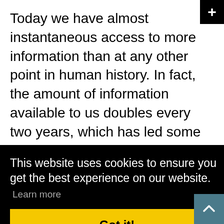Today we have almost instantaneous access to more information than at any other point in human history. In fact, the amount of information available to us doubles every two years, which has led some to believe that we'll eventually be able to read minds and shape our environment at will. But how can we make smarter decisions and not easily be caught to believe a scam?
This website uses cookies to ensure you get the best experience on our website.
Learn more
Got it!
and scammers use to sell products.